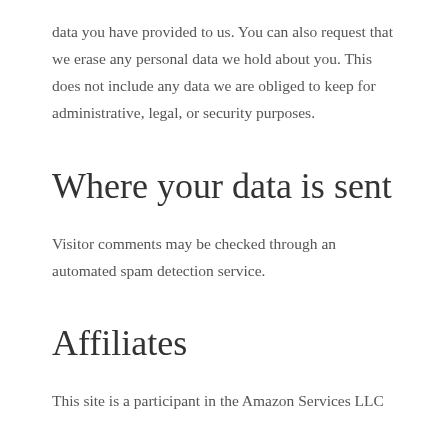data you have provided to us. You can also request that we erase any personal data we hold about you. This does not include any data we are obliged to keep for administrative, legal, or security purposes.
Where your data is sent
Visitor comments may be checked through an automated spam detection service.
Affiliates
This site is a participant in the Amazon Services LLC Associates Program for Amazon and Ama...